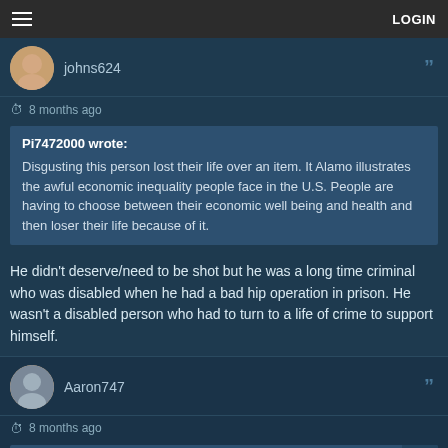☰  LOGIN
johns624
8 months ago
Pi7472000 wrote: Disgusting this person lost their life over an item. It Alamo illustrates the awful economic inequality people face in the U.S. People are having to choose between their economic well being and health and then loser their life because of it.
He didn't deserve/need to be shot but he was a long time criminal who was disabled when he had a bad hip operation in prison. He wasn't a disabled person who had to turn to a life of crime to support himself.
Aaron747
8 months ago
johns624 wrote: Are there any large US cities that have had long-term Republican administrations?